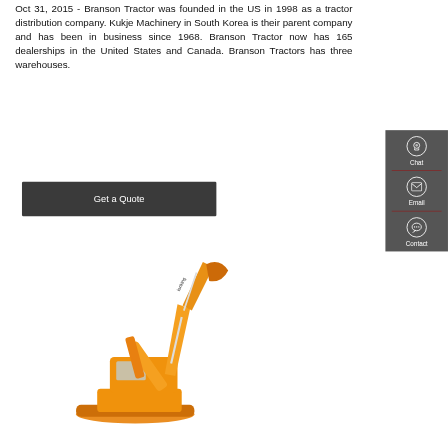Oct 31, 2015 - Branson Tractor was founded in the US in 1998 as a tractor distribution company. Kukje Machinery in South Korea is their parent company and has been in business since 1968. Branson Tractor now has 165 dealerships in the United States and Canada. Branson Tractors has three warehouses.
[Figure (other): Dark grey button labeled 'Get a Quote']
[Figure (other): Right sidebar with Chat (headset icon), Email (envelope icon), and Contact (speech bubble icon) buttons on dark grey background]
[Figure (photo): Orange Lonking excavator/construction machine on white background]